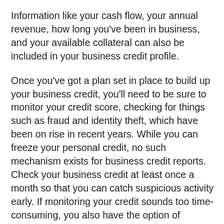Information like your cash flow, your annual revenue, how long you've been in business, and your available collateral can also be included in your business credit profile.
Once you've got a plan set in place to build up your business credit, you'll need to be sure to monitor your credit score, checking for things such as fraud and identity theft, which have been on rise in recent years. While you can freeze your personal credit, no such mechanism exists for business credit reports. Check your business credit at least once a month so that you can catch suspicious activity early. If monitoring your credit sounds too time-consuming, you also have the option of subscribing to a credit